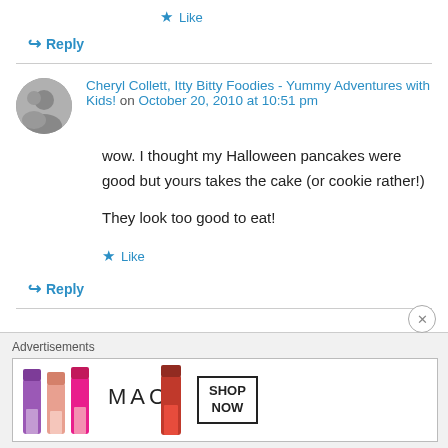★ Like
↪ Reply
Cheryl Collett, Itty Bitty Foodies - Yummy Adventures with Kids! on October 20, 2010 at 10:51 pm
wow. I thought my Halloween pancakes were good but yours takes the cake (or cookie rather!)
They look too good to eat!
★ Like
↪ Reply
[Figure (screenshot): MAC cosmetics advertisement banner showing colorful lipsticks with MAC logo and SHOP NOW button]